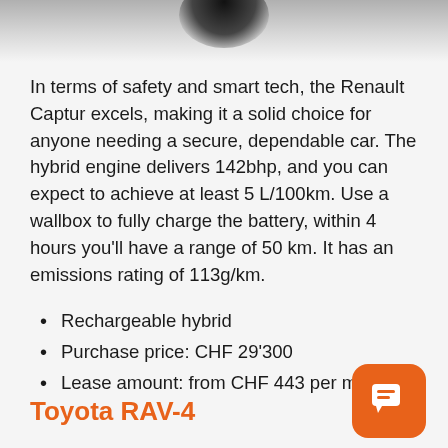[Figure (photo): Top portion of a car (partial view, dark tire/wheel area visible against light grey background)]
In terms of safety and smart tech, the Renault Captur excels, making it a solid choice for anyone needing a secure, dependable car. The hybrid engine delivers 142bhp, and you can expect to achieve at least 5 L/100km. Use a wallbox to fully charge the battery, within 4 hours you'll have a range of 50 km. It has an emissions rating of 113g/km.
Rechargeable hybrid
Purchase price: CHF 29'300
Lease amount: from CHF 443 per month
Toyota RAV-4